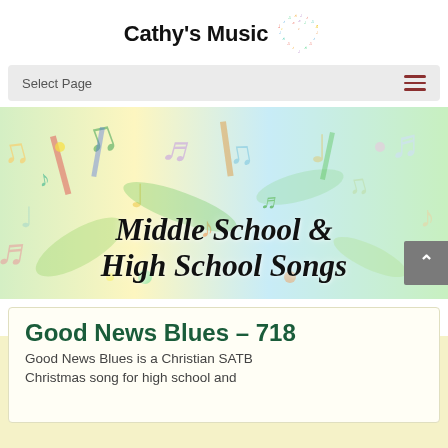Cathy's Music
Select Page
[Figure (illustration): Colorful music notes and symbols arranged in a banner background with pastel colors]
Middle School & High School Songs
Good News Blues – 718
Good News Blues is a Christian SATB Christmas song for high school and